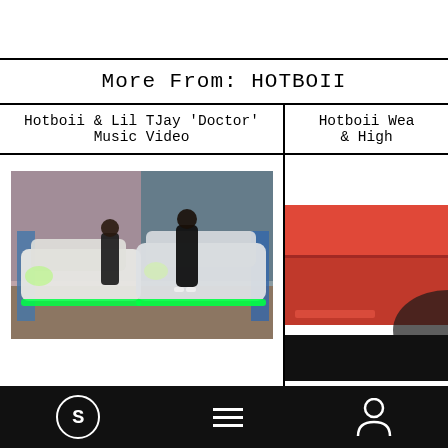More From: HOTBOII
Hotboii & Lil TJay 'Doctor' Music Video
[Figure (photo): Music video still showing two people posing next to luxury cars (Mercedes and Lamborghini Urus) with green underglow lighting in a parking garage.]
Hotboii Wea... & High...
[Figure (photo): Partially visible photo of a red sports car.]
S (logo icon) | Menu | Profile